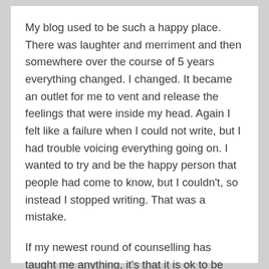My blog used to be such a happy place. There was laughter and merriment and then somewhere over the course of 5 years everything changed. I changed. It became an outlet for me to vent and release the feelings that were inside my head. Again I felt like a failure when I could not write, but I had trouble voicing everything going on. I wanted to try and be the happy person that people had come to know, but I couldn't, so instead I stopped writing. That was a mistake.
If my newest round of counselling has taught me anything, it's that it is ok to be me. I don't have to make excuses for the way I am, instead, I have to learn to love and value myself so that I can receive the same from others. Fuck is that difficult.